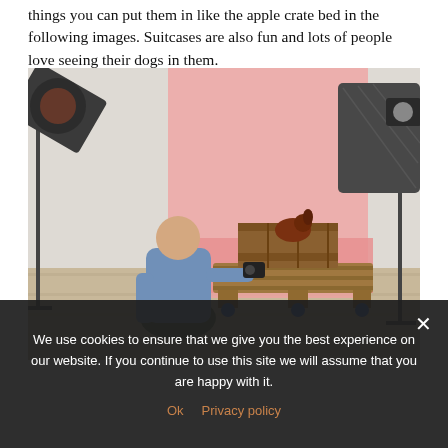things you can put them in like the apple crate bed in the following images. Suitcases are also fun and lots of people love seeing their dogs in them.
[Figure (photo): A photographer sitting on the floor in a studio, photographing a small brown dog sitting inside a wooden crate on a pallet. Studio lighting equipment (softboxes on stands) visible on both sides. Pink backdrop visible behind the dog.]
We use cookies to ensure that we give you the best experience on our website. If you continue to use this site we will assume that you are happy with it.
Ok   Privacy policy